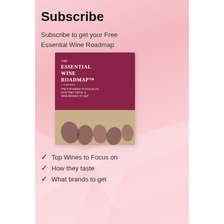Subscribe
Subscribe to get your Free Essential Wine Roadmap
[Figure (illustration): Book cover of 'The Essential Wine Roadmap' with dark wine-red top section and beige bottom section showing wine glass silhouettes]
✓ Top Wines to Focus on
✓ How they taste
✓ What brands to get